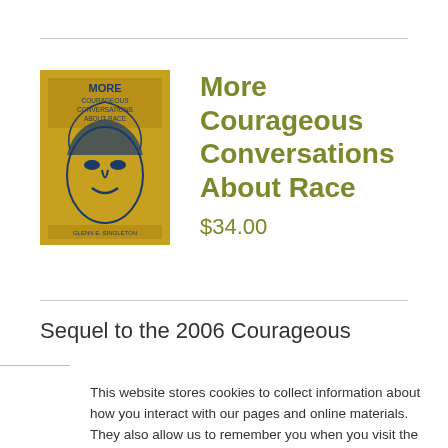[Figure (illustration): Book cover for 'More Courageous Conversations About Race' by Glenn E. Singleton. Golden/yellow background with blue illustrated face.]
More Courageous Conversations About Race
$34.00
Sequel to the 2006 Courageous
This website stores cookies to collect information about how you interact with our pages and online materials. They also allow us to remember you when you visit the site again. We use this information for analytics and metrics, and to improve your experience as we continue to grow as a nonprofit.
ACCEPT
DECLINE